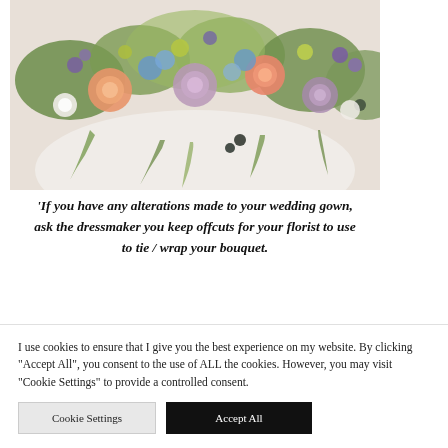[Figure (photo): A lush floral arrangement bouquet with mixed flowers in peach, orange, lavender, purple, blue, and greenery including roses, thistles, and trailing vines against a light background.]
'If you have any alterations made to your wedding gown, ask the dressmaker you keep offcuts for your florist to use to tie / wrap your bouquet.
I use cookies to ensure that I give you the best experience on my website. By clicking "Accept All", you consent to the use of ALL the cookies. However, you may visit "Cookie Settings" to provide a controlled consent.